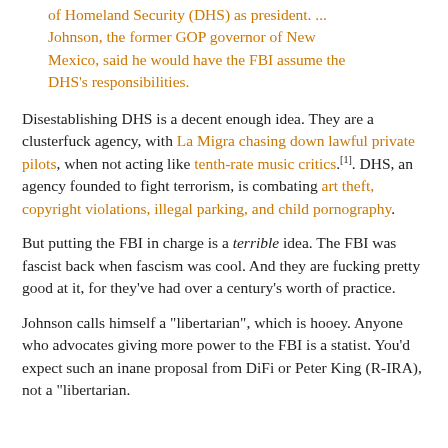of Homeland Security (DHS) as president. ... Johnson, the former GOP governor of New Mexico, said he would have the FBI assume the DHS's responsibilities.
Disestablishing DHS is a decent enough idea. They are a clusterfuck agency, with La Migra chasing down lawful private pilots, when not acting like tenth-rate music critics.[1]. DHS, an agency founded to fight terrorism, is combating art theft, copyright violations, illegal parking, and child pornography.
But putting the FBI in charge is a terrible idea. The FBI was fascist back when fascism was cool. And they are fucking pretty good at it, for they've had over a century's worth of practice.
Johnson calls himself a "libertarian", which is hooey. Anyone who advocates giving more power to the FBI is a statist. You'd expect such an inane proposal from DiFi or Peter King (R-IRA), not a "libertarian.